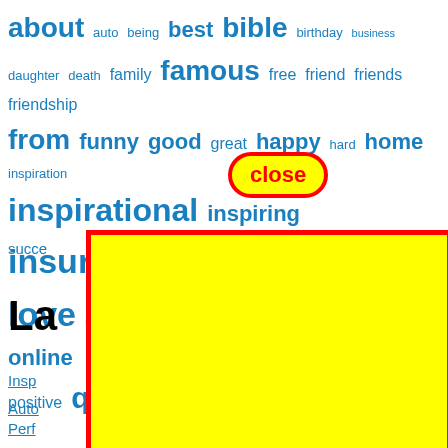[Figure (infographic): Tag cloud of words related to quotes, including: about, auto, being, best, bible, birthday, business, daughter, death, family, famous, free, friend, friends, friendship, from, funny, good, great, happy, hard, home, inspiration, inspirational, inspiring, insurance, life, loss, love, morning, mother, motivation, motivational, online, positive, quote, quotes, self, short, stock, success. Words appear in varying sizes in blue color. A 'close' button in red text with yellow background and red rounded border overlay appears over part of the tag cloud. A large yellow rectangle with red border covers the lower right portion of the page. Partially visible black bold heading 'La...' and blue underlined links: Insp..., Auto..., Perf..., Best..., Good...]
La
Insp
Auto
Perf
Best
Good